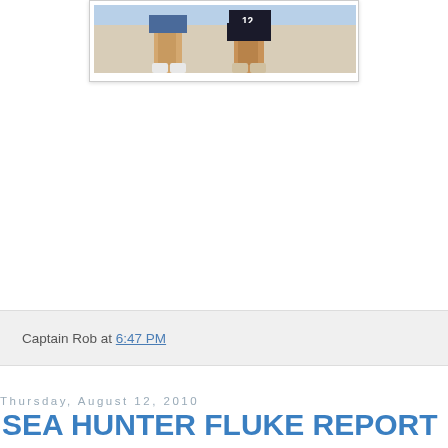[Figure (photo): Partial photo showing lower legs and feet of people, one wearing a jersey with number 12, cropped at the top of the page]
Captain Rob at 6:47 PM
Thursday, August 12, 2010
SEA HUNTER FLUKE REPORT 8-11-10